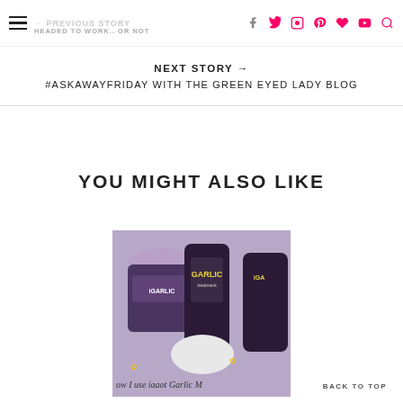← PREVIOUS STORY  HEADED TO WORK.. OR NOT
NEXT STORY →
#ASKAWAYFRIDAY WITH THE GREEN EYED LADY BLOG
YOU MIGHT ALSO LIKE
[Figure (photo): Photo of garlic hair care product lineup including jars and bottles with purple and black packaging labeled iGarlic, with text overlay reading 'how I use iGarlic']
BACK TO TOP